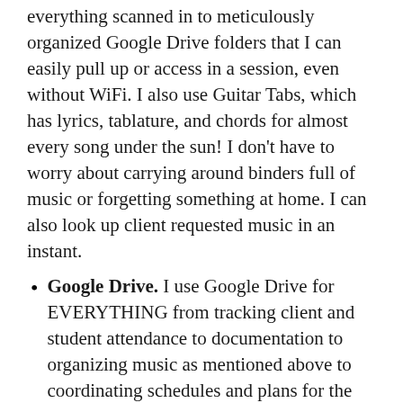everything scanned in to meticulously organized Google Drive folders that I can easily pull up or access in a session, even without WiFi. I also use Guitar Tabs, which has lyrics, tablature, and chords for almost every song under the sun! I don't have to worry about carrying around binders full of music or forgetting something at home. I can also look up client requested music in an instant.
Google Drive. I use Google Drive for EVERYTHING from tracking client and student attendance to documentation to organizing music as mentioned above to coordinating schedules and plans for the week with my colleagues. It's easy to organize things and access from multiple devices — all password and fingerprint